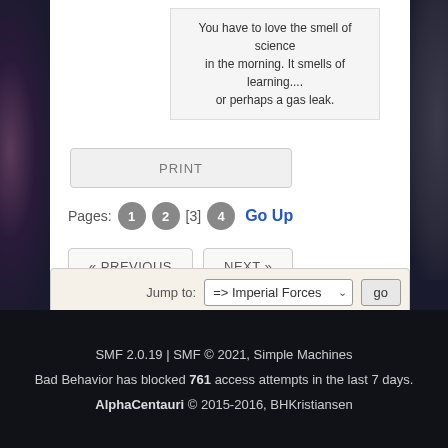You have to love the smell of science in the morning. It smells of learning.... or perhaps a gas leak.
PRINT
Pages: 1 2 [3] 4 Go Up
« PREVIOUS   NEXT »
Jump to: => Imperial Forces   go
SMF 2.0.19 | SMF © 2021, Simple Machines
Bad Behavior has blocked 761 access attempts in the last 7 days.
AlphaCentauri © 2015-2016, BHKristiansen